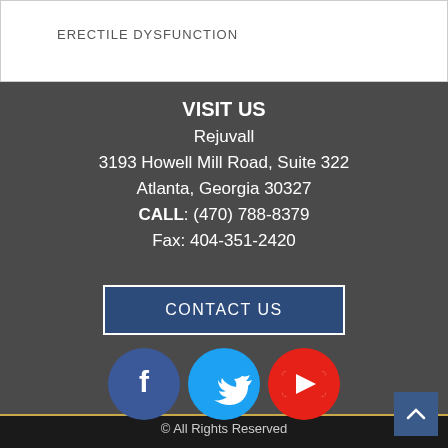ERECTILE DYSFUNCTION
VISIT US
Rejuvall
3193 Howell Mill Road, Suite 322
Atlanta, Georgia 30327
CALL: (470) 788-8379
Fax: 404-351-2420
CONTACT US
[Figure (illustration): Social media icons: Facebook (blue circle), Twitter (light blue circle), YouTube (red circle)]
© All Rights Reserved